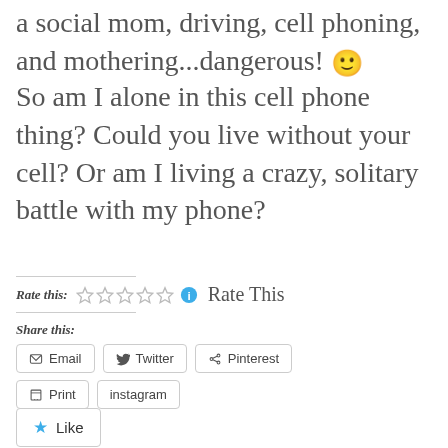a social mom, driving, cell phoning, and mothering...dangerous! 🙂
So am I alone in this cell phone thing?  Could you live without your cell?  Or am I living a crazy, solitary battle with my phone?
Rate this: ☆☆☆☆☆ ℹ Rate This
Share this:
Email  Twitter  Pinterest
Print  instagram
Like
Be the first to like this.